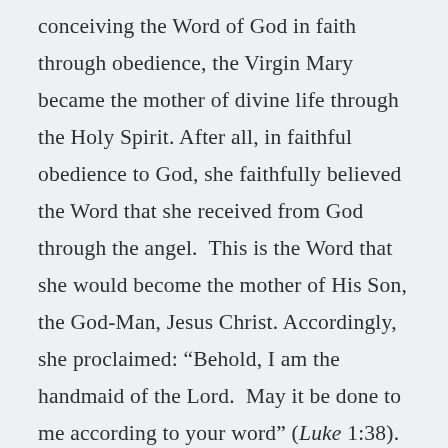conceiving the Word of God in faith through obedience, the Virgin Mary became the mother of divine life through the Holy Spirit. After all, in faithful obedience to God, she faithfully believed the Word that she received from God through the angel.  This is the Word that she would become the mother of His Son, the God-Man, Jesus Christ. Accordingly, she proclaimed: “Behold, I am the handmaid of the Lord.  May it be done to me according to your word” (Luke 1:38).  For this reason, through her faithful yes to God, the Virgin Mary conceived and bore the Son of God, as the Son of Man, who would, first of all,